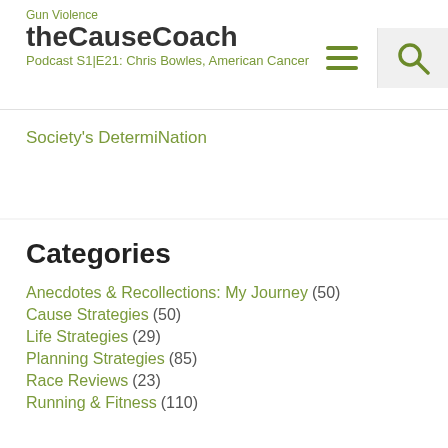Gun Violence
theCauseCoach
Podcast S1|E21: Chris Bowles, American Cancer Society's DetermiNation
Society's DetermiNation
Categories
Anecdotes & Recollections: My Journey (50)
Cause Strategies (50)
Life Strategies (29)
Planning Strategies (85)
Race Reviews (23)
Running & Fitness (110)